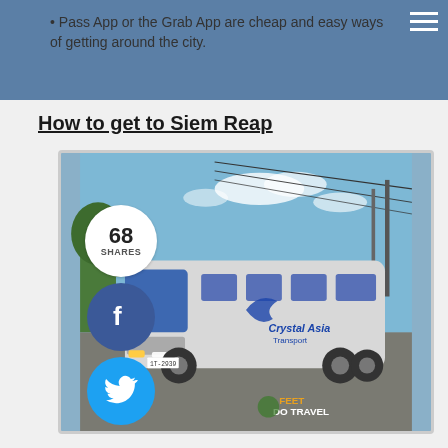Pass App or the Grab App are cheap and easy ways of getting around the city.
How to get to Siem Reap
[Figure (photo): A white tourist/charter bus parked on a gravel lot with trees in the background and blue sky. The bus has a blue bird/wave logo on the side. Social share buttons and count (68 SHARES) overlay the left side of the image. A 'FEET DO TRAVEL' watermark appears in the bottom right.]